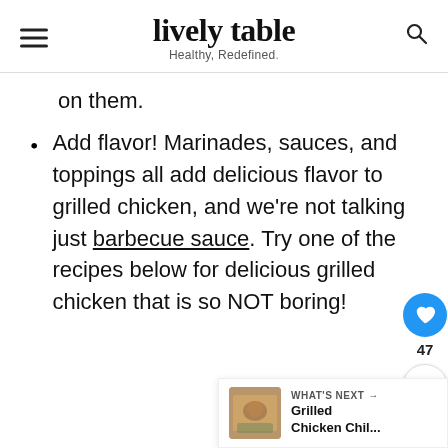lively table — Healthy, Redefined.
on them.
Add flavor! Marinades, sauces, and toppings all add delicious flavor to grilled chicken, and we're not talking just barbecue sauce. Try one of the recipes below for delicious grilled chicken that is so NOT boring!